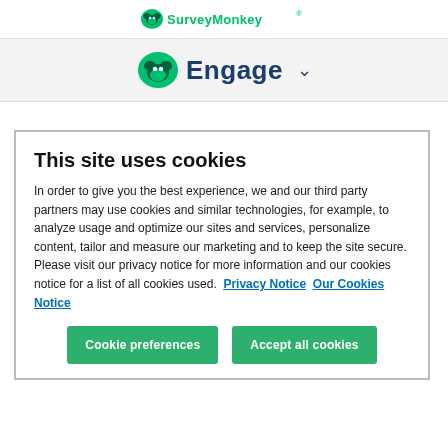SurveyMonkey
[Figure (logo): SurveyMonkey Engage logo with monkey icon and chevron dropdown indicator]
This site uses cookies
In order to give you the best experience, we and our third party partners may use cookies and similar technologies, for example, to analyze usage and optimize our sites and services, personalize content, tailor and measure our marketing and to keep the site secure. Please visit our privacy notice for more information and our cookies notice for a list of all cookies used.  Privacy Notice  Our Cookies Notice
Cookie preferences  Accept all cookies